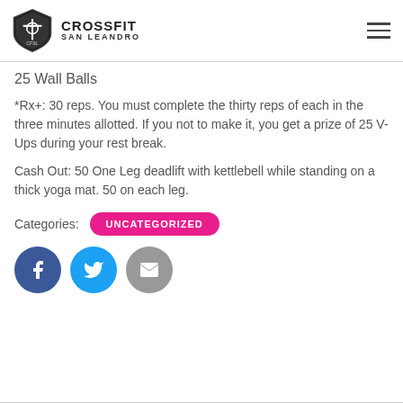CrossFit San Leandro
25 Wall Balls
*Rx+: 30 reps.  You must complete the thirty reps of each in the three minutes allotted.  If you not to make it, you get a prize of 25 V-Ups during your rest break.
Cash Out: 50 One Leg deadlift with kettlebell while standing on a thick yoga mat.  50 on each leg.
Categories: UNCATEGORIZED